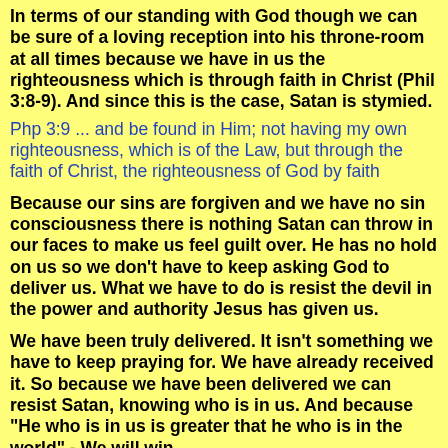In terms of our standing with God though we can be sure of a loving reception into his throne-room at all times because we have in us the righteousness which is through faith in Christ (Phil 3:8-9). And since this is the case, Satan is stymied.
Php 3:9 ... and be found in Him; not having my own righteousness, which is of the Law, but through the faith of Christ, the righteousness of God by faith
Because our sins are forgiven and we have no sin consciousness there is nothing Satan can throw in our faces to make us feel guilt over. He has no hold on us so we don't have to keep asking God to deliver us. What we have to do is resist the devil in the power and authority Jesus has given us.
We have been truly delivered. It isn't something we have to keep praying for. We have already received it. So because we have been delivered we can resist Satan, knowing who is in us. And because "He who is in us is greater that he who is in the world" - We will win.